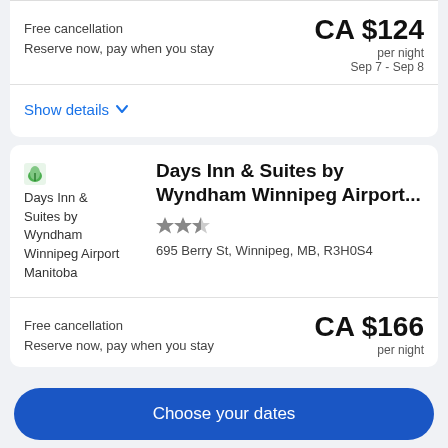Free cancellation
Reserve now, pay when you stay
CA $124
per night
Sep 7 - Sep 8
Show details
Days Inn & Suites by Wyndham Winnipeg Airport...
695 Berry St, Winnipeg, MB, R3H0S4
Free cancellation
Reserve now, pay when you stay
CA $166
per night
Choose your dates